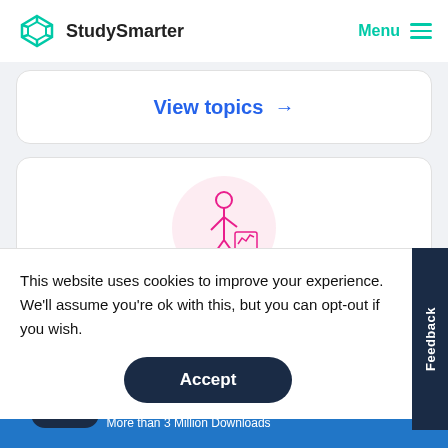StudySmarter   Menu
View topics →
[Figure (illustration): Pink circle background with a line-art illustration of a person studying with a graph/chart, drawn in pink outline style]
This website uses cookies to improve your experience. We'll assume you're ok with this, but you can opt-out if you wish.
Accept
Feedback
StudySmarter - The all-in-one study app.
★★★★★ 4.8 • +11k Ratings
More than 3 Million Downloads
Free